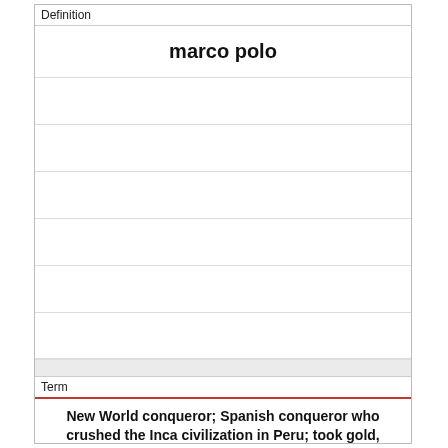Definition
marco polo
Term
New World conqueror; Spanish conqueror who crushed the Inca civilization in Peru; took gold, silver and enslaved the Incas in 1532.
CONQUERED INCAS